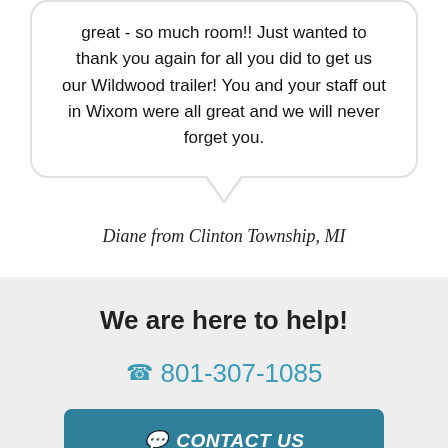great - so much room!! Just wanted to thank you again for all you did to get us our Wildwood trailer! You and your staff out in Wixom were all great and we will never forget you.
Diane from Clinton Township, MI
We are here to help!
801-307-1085
CONTACT US